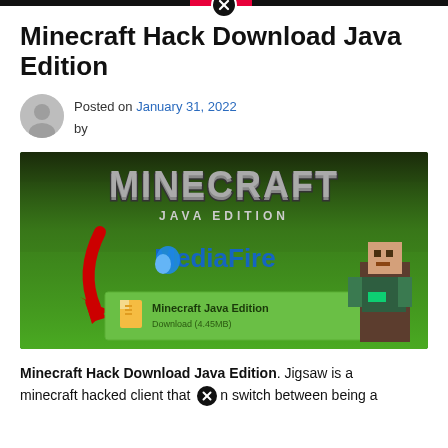Minecraft Hack Download Java Edition
Posted on January 31, 2022 by
[Figure (illustration): Minecraft Java Edition promotional image with MediaFire download button showing 'Minecraft Java Edition Download (4.45MB)' with a red arrow and a Minecraft character on green background]
Minecraft Hack Download Java Edition. Jigsaw is a minecraft hacked client that can switch between being a